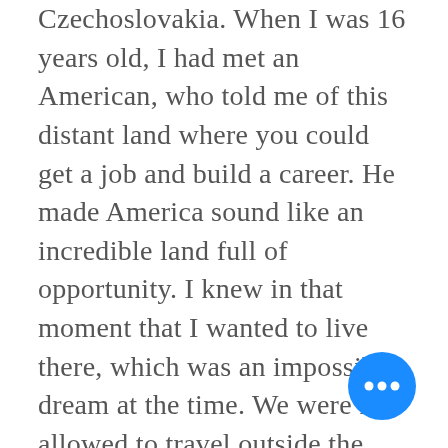Czechoslovakia. When I was 16 years old, I had met an American, who told me of this distant land where you could get a job and build a career. He made America sound like an incredible land full of opportunity. I knew in that moment that I wanted to live there, which was an impossible dream at the time. We were not allowed to travel outside the country, I did not speak English nor did I have any money, connections or education. I just knew in my soul that America was where I was supposed to be, I had zero doubts on my dreams of someday moving there. Two years later, the communist regime fell apart. This